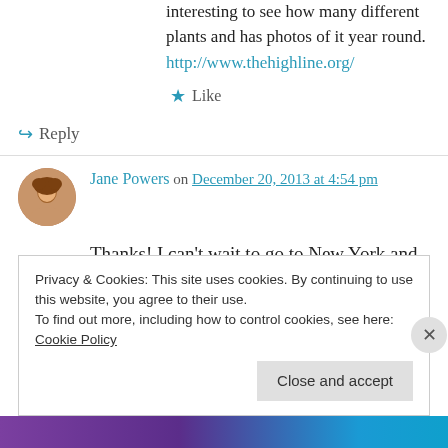interesting to see how many different plants and has photos of it year round.
http://www.thehighline.org/
★ Like
↪ Reply
Jane Powers on December 20, 2013 at 4:54 pm
Thanks! I can't wait to go to New York and see the High Line.
Privacy & Cookies: This site uses cookies. By continuing to use this website, you agree to their use.
To find out more, including how to control cookies, see here: Cookie Policy
Close and accept